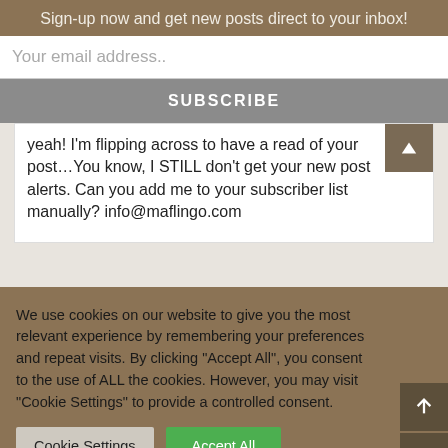Sign-up now and get new posts direct to your inbox!
Your email address..
SUBSCRIBE
yeah! I'm flipping across to have a read of your post…You know, I STILL don't get your new post alerts. Can you add me to your subscriber list manually? info@maflingo.com
We use cookies on our website to give you the most relevant experience by remembering your preferences and repeat visits. By clicking "Accept All", you consent to the use of ALL the cookies. However, you may visit "Cookie Settings" to provide a controlled consent.
Cookie Settings
Accept All